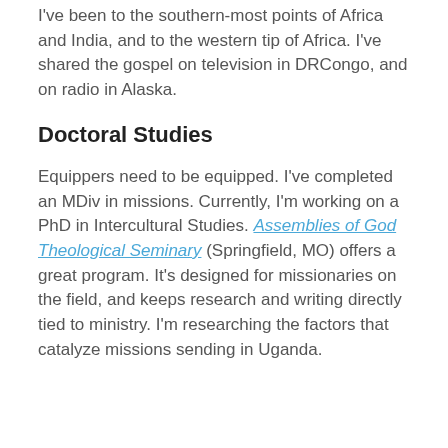I've been to the southern-most points of Africa and India, and to the western tip of Africa. I've shared the gospel on television in DRCongo, and on radio in Alaska.
Doctoral Studies
Equippers need to be equipped. I've completed an MDiv in missions. Currently, I'm working on a PhD in Intercultural Studies. Assemblies of God Theological Seminary (Springfield, MO) offers a great program. It's designed for missionaries on the field, and keeps research and writing directly tied to ministry. I'm researching the factors that catalyze missions sending in Uganda.